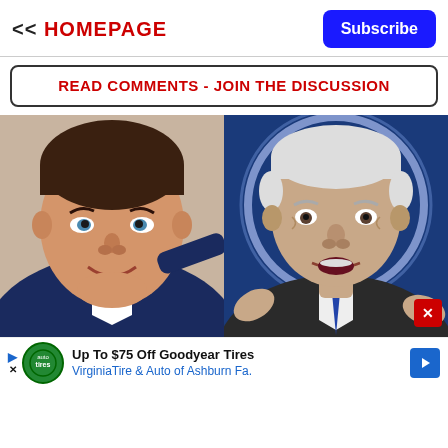<< HOMEPAGE
Subscribe
READ COMMENTS - JOIN THE DISCUSSION
[Figure (photo): Side-by-side photos of two politicians: on the left, Ron DeSantis in a suit looking up; on the right, Joe Biden gesturing with hands raised, with a blue glowing halo-like circle behind him.]
Up To $75 Off Goodyear Tires
VirginiaTire & Auto of Ashburn Fa.